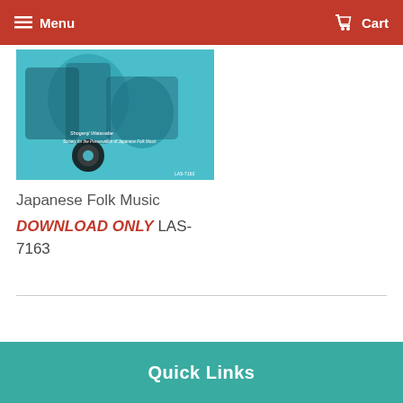Menu   Cart
[Figure (illustration): Album cover for Japanese Folk Music showing a stylized cyan/teal illustration with Japanese figures and text reading 'Shogenji Watanabe, Society for the Preservation of Japanese Folk Music' and catalog number LAS-7163]
Japanese Folk Music
DOWNLOAD ONLY LAS-7163
Quick Links